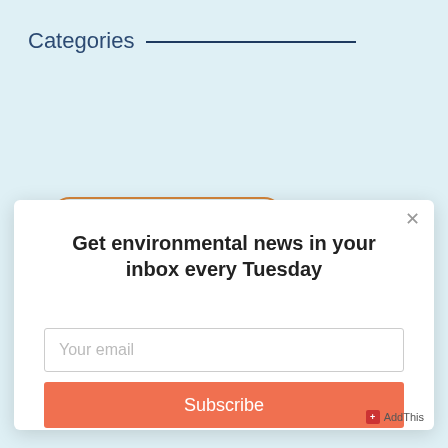Categories
Get environmental news in your inbox every Tuesday
Your email
Subscribe
AddThis